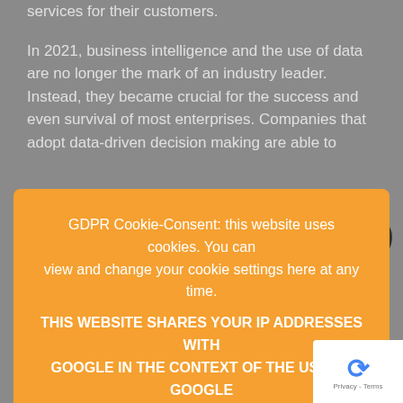services for their customers.
In 2021, business intelligence and the use of data are no longer the mark of an industry leader. Instead, they became crucial for the success and even survival of most enterprises. Companies that adopt data-driven decision making are able to
[Figure (screenshot): GDPR Cookie-Consent overlay with orange background. Text reads: 'GDPR Cookie-Consent: this website uses cookies. You can view and change your cookie settings here at any time. THIS WEBSITE SHARES YOUR IP ADDRESSES WITH GOOGLE IN THE CONTEXT OF THE USE OF GOOGLE FONTS AND GOOGLE RECAPTCHA' with a 'Cookie settings' link and an 'ACCEPT' button.]
enterprise to meet the demands of its operations and market. Get in touch today.
If you enjoyed reading this article, make sure to share with others. You can follow HICO-Group on social media for the latest updates here.